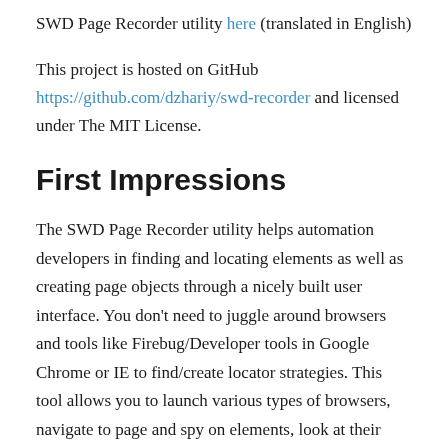SWD Page Recorder utility here (translated in English)
This project is hosted on GitHub https://github.com/dzhariy/swd-recorder and licensed under The MIT License.
First Impressions
The SWD Page Recorder utility helps automation developers in finding and locating elements as well as creating page objects through a nicely built user interface. You don't need to juggle around browsers and tools like Firebug/Developer tools in Google Chrome or IE to find/create locator strategies. This tool allows you to launch various types of browsers, navigate to page and spy on elements, look at their attributes, create & test locators. You can then use this information to